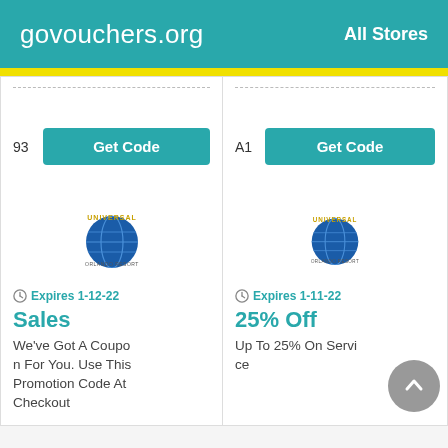govouchers.org   All Stores
[Figure (screenshot): Get Code button with code prefix '93' on teal button]
[Figure (screenshot): Get Code button with code prefix 'A1' on teal button]
[Figure (logo): Universal Orlando Resort logo]
Expires 1-12-22
Sales
We've Got A Coupon For You. Use This Promotion Code At Checkout
[Figure (logo): Universal Orlando Resort logo]
Expires 1-11-22
25% Off
Up To 25% On Service